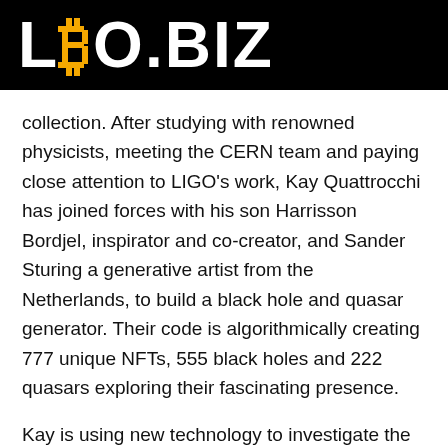LBO.BIZ
collection. After studying with renowned physicists, meeting the CERN team and paying close attention to LIGO's work, Kay Quattrocchi has joined forces with his son Harrisson Bordjel, inspirator and co-creator, and Sander Sturing a generative artist from the Netherlands, to build a black hole and quasar generator. Their code is algorithmically creating 777 unique NFTs, 555 black holes and 222 quasars exploring their fascinating presence.
Kay is using new technology to investigate the connections between science, art, space, time, consciousness, in which she has had a longstand...